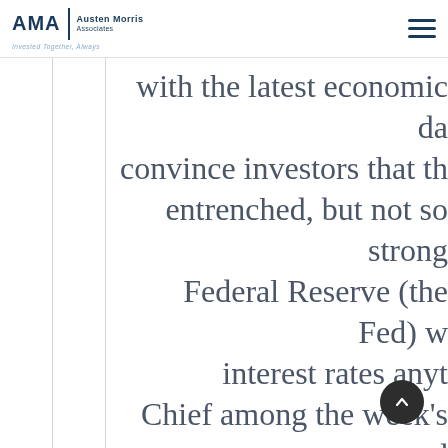AMA | Austen Morris Associates — Invested Together, Always
with the latest economic da... convince investors that th... entrenched, but not so strong... Federal Reserve (the Fed) w... interest rates anyt... Chief among the week's d... October's employment repor... the US economy had create... month. The figure was sligh... bullish expectations, but is... suggest that consumer confid...